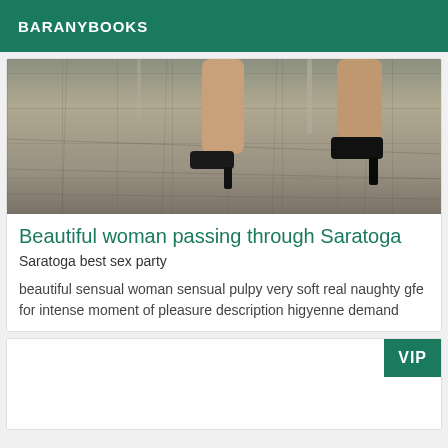BARANYBOOKS
[Figure (photo): Close-up photo of a woman's legs and high heel shoes on a cobblestone street]
Beautiful woman passing through Saratoga
Saratoga best sex party
beautiful sensual woman sensual pulpy very soft real naughty gfe for intense moment of pleasure description higyenne demand
[Figure (photo): Second listing card with VIP badge, image area mostly empty/white]